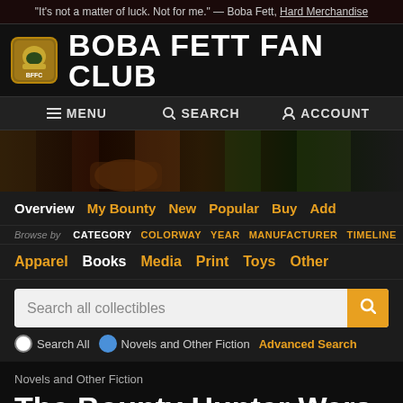"It's not a matter of luck. Not for me." — Boba Fett, Hard Merchandise
BOBA FETT FAN CLUB
MENU   SEARCH   ACCOUNT
[Figure (photo): Dark hero image showing Boba Fett armor details]
Overview  My Bounty  New  Popular  Buy  Add
Browse by  CATEGORY  COLORWAY  YEAR  MANUFACTURER  TIMELINE  LIST
Apparel  Books  Media  Print  Toys  Other
Search all collectibles
Search All  Novels and Other Fiction  Advanced Search
Novels and Other Fiction
The Bounty Hunter Wars